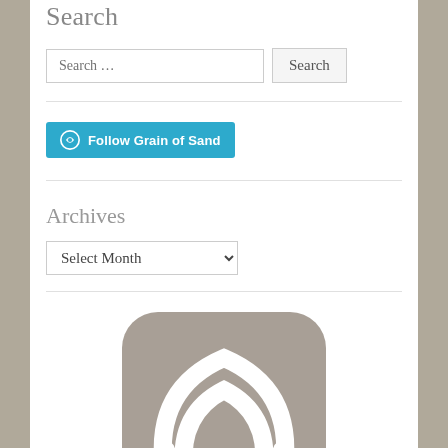Search
Search …
[Figure (other): Follow Grain of Sand WordPress follow button]
Archives
Select Month
[Figure (logo): Grain of Sand app icon logo: a rounded square with a stylized owl or grain shape in white on grey background]